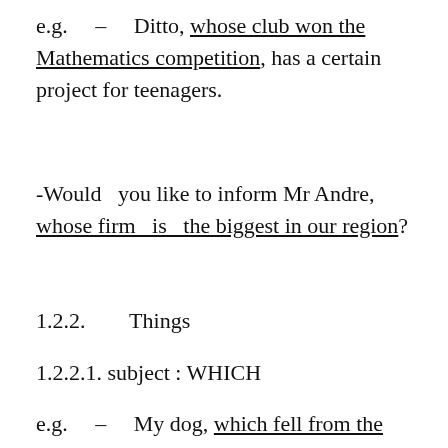e.g.  –  Ditto, whose club won the Mathematics competition, has a certain project for teenagers.
-Would  you like to inform Mr Andre, whose firm  is  the biggest in our region?
1.2.2.       Things
1.2.2.1. subject : WHICH
e.g.  –  My dog, which fell from the fence yesterday, is getting better now.